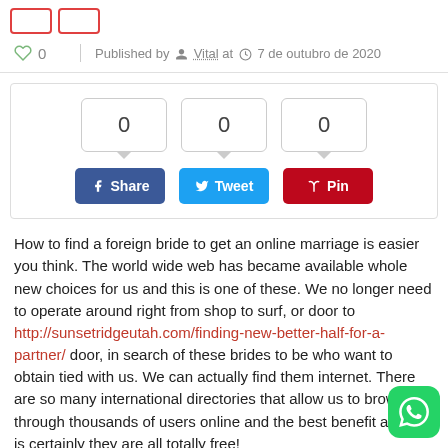[Figure (other): Two red-outlined rectangular buttons at top]
0  Published by Vital at 7 de outubro de 2020
[Figure (infographic): Social share widget with three count boxes showing 0, 0, 0 and buttons: Share (Facebook), Tweet (Twitter), Pin (Pinterest)]
How to find a foreign bride to get an online marriage is easier you think. The world wide web has became available whole new choices for us and this is one of these. We no longer need to operate around right from shop to surf, or door to http://sunsetridgeutah.com/finding-new-better-half-for-a-partner/ door, in search of these brides to be who want to obtain tied with us. We can actually find them internet. There are so many international directories that allow us to browse through thousands of users online and the best benefit about it is certainly they are all totally free!